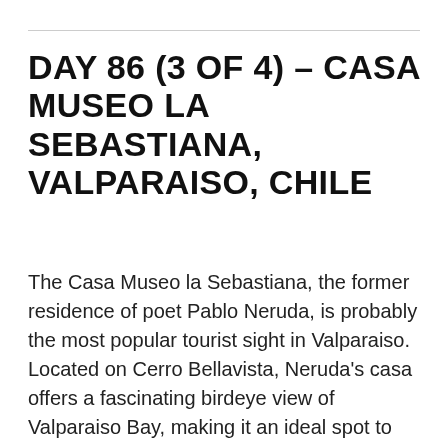DAY 86 (3 OF 4) – CASA MUSEO LA SEBASTIANA, VALPARAISO, CHILE
The Casa Museo la Sebastiana, the former residence of poet Pablo Neruda, is probably the most popular tourist sight in Valparaiso. Located on Cerro Bellavista, Neruda's casa offers a fascinating birdeye view of Valparaiso Bay, making it an ideal spot to see the New Year's Eve firework displays, according to the poet's own words.
Visiting Casa Sebastiana is like entering the world of Neruda. Neruda loved collecting things. Over the years, he had incorporated his collection of furniture, housewares,